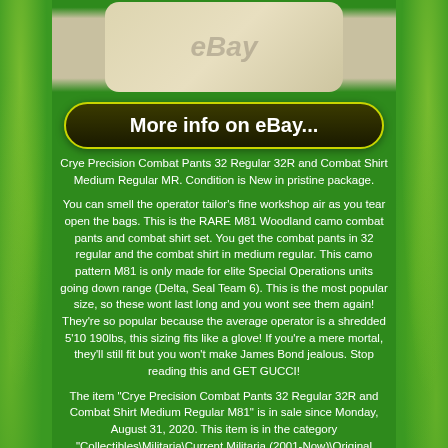[Figure (photo): Product image with eBay watermark, showing packaged items against a cream/tan background]
More info on eBay...
Crye Precision Combat Pants 32 Regular 32R and Combat Shirt Medium Regular MR. Condition is New in pristine package.
You can smell the operator tailor's fine workshop air as you tear open the bags. This is the RARE M81 Woodland camo combat pants and combat shirt set. You get the combat pants in 32 regular and the combat shirt in medium regular. This camo pattern M81 is only made for elite Special Operations units going down range (Delta, Seal Team 6). This is the most popular size, so these wont last long and you wont see them again! They're so popular because the average operator is a shredded 5'10 190lbs, this sizing fits like a glove! If you're a mere mortal, they'll still fit but you won't make James Bond jealous. Stop reading this and GET GUCCI!
The item "Crye Precision Combat Pants 32 Regular 32R and Combat Shirt Medium Regular M81" is in sale since Monday, August 31, 2020. This item is in the category "Collectibles\Militaria\Current Militaria (2001-Now)\Original Items\Uniforms". The seller is "greenk14" and is located in Roswell,